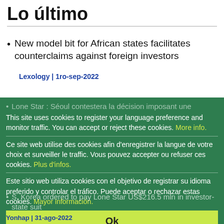Lo último
New model bit for African states facilitates counterclaims against foreign investors
Lexology | 1ro-sep-2022
Lone Star : Séoul contestera la décision imposant une indemnisation
Yonhap | 1ro-sep-2022
South Korea to appeal international tribunal's order to pay damages to Lone Star, Yonhap Korea
Ce sitio web utiliza cookies con el objetivo de registrar su idioma preferido y controlar el tráfico entre inversores y el CIADI
Yonhap | 31-ago-2022
This site uses cookies to register your language preference and monitor traffic. You can accept or reject these cookies. More info.
Ce site web utilise des cookies afin d'enregistrer la langue de votre choix et surveiller le traffic. Vous pouvez accepter ou refuser ces cookies. Plus d'infos.
Este sitio web utiliza cookies con el objetivo de registrar su idioma preferido y controlar el tráfico. Puede aceptar o rechazar estas cookies. Mayor información.
S. Korea ordered to pay Lone Star US$216.5 mln in investor-state suit
Yonhap | 31-ago-2022